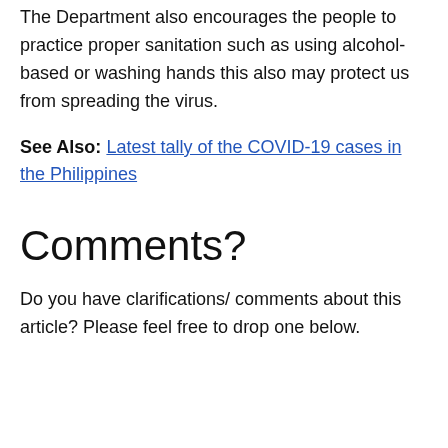The Department also encourages the people to practice proper sanitation such as using alcohol-based or washing hands this also may protect us from spreading the virus.
See Also: Latest tally of the COVID-19 cases in the Philippines
Comments?
Do you have clarifications/ comments about this article? Please feel free to drop one below.